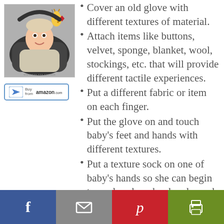[Figure (photo): Baby in car seat looking at a colorful toy giraffe hanging above]
[Figure (other): Buy from amazon.com button with arrow logo]
Cover an old glove with different textures of material.
Attach items like buttons, velvet, sponge, blanket, wool, stockings, etc. that will provide different tactile experiences.
Put a different fabric or item on each finger.
Put the glove on and touch baby's feet and hands with different textures.
Put a texture sock on one of baby's hands so she can begin to explore how her hands work together.
[Figure (infographic): Social sharing footer with Facebook, Email, Pinterest, and Print buttons]